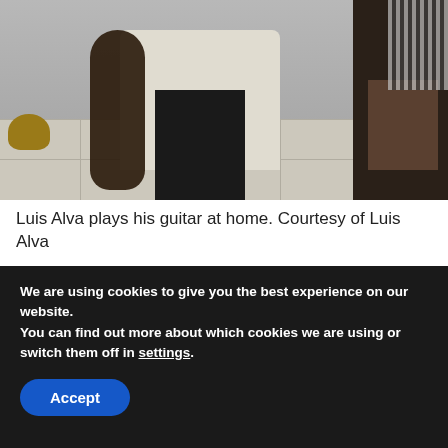[Figure (photo): Person sitting on a stool playing guitar at home. Tile floor visible, furniture in background including a dark table on the right and a golden bowl on the lower left.]
Luis Alva plays his guitar at home. Courtesy of Luis Alva
More than 400 songs recorded. Forty gold records, 28 platinum and 16 double platinum certifications. BMI’s 1994 Latin Songwriter of the Year in the USA. The creator of techno merengue.
We are using cookies to give you the best experience on our website.
You can find out more about which cookies we are using or switch them off in settings.
Accept